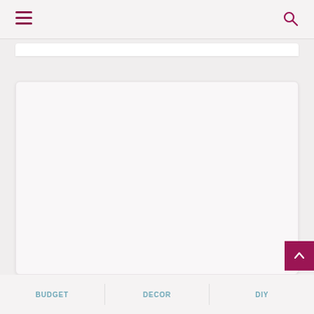Navigation bar with hamburger menu and search icon
[Figure (screenshot): Empty white content card area (main content placeholder)]
BUDGET | DECOR | DIY